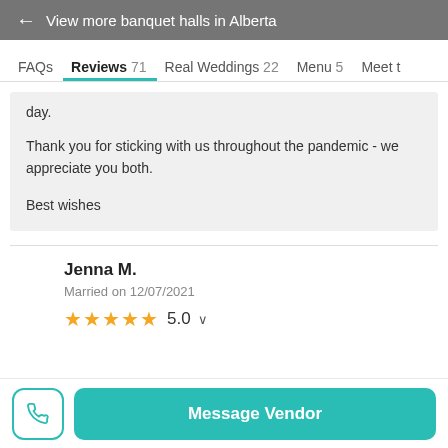← View more banquet halls in Alberta
FAQs   Reviews 71   Real Weddings 22   Menu 5   Meet t...
day.
Thank you for sticking with us throughout the pandemic - we appreciate you both.

Best wishes
Jenna M.
Married on 12/07/2021
★★★★★ 5.0
Message Vendor